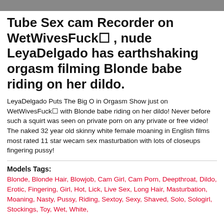[Figure (photo): Partial image visible at top of page, appears to be a cropped photo]
Tube Sex cam Recorder on WetWivesFuck■ , nude LeyaDelgado has earthshaking orgasm filming Blonde babe riding on her dildo.
LeyaDelgado Puts The Big O in Orgasm Show just on WetWivesFuck■ with Blonde babe riding on her dildo! Never before such a squirt was seen on private porn on any private or free video! The naked 32 year old skinny white female moaning in English films most rated 11 star wecam sex masturbation with lots of closeups fingering pussy!
Models Tags:
Blonde, Blonde Hair, Blowjob, Cam Girl, Cam Porn, Deepthroat, Dildo, Erotic, Fingering, Girl, Hot, Lick, Live Sex, Long Hair, Masturbation, Moaning, Nasty, Pussy, Riding, Sextoy, Sexy, Shaved, Solo, Sologirl, Stockings, Toy, Wet, White,